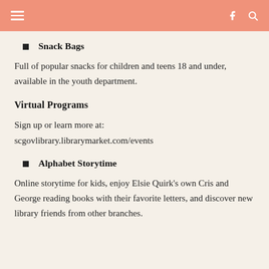Navigation header with hamburger menu, Facebook icon, and search icon
Snack Bags
Full of popular snacks for children and teens 18 and under, available in the youth department.
Virtual Programs
Sign up or learn more at: scgovlibrary.librarymarket.com/events
Alphabet Storytime
Online storytime for kids, enjoy Elsie Quirk's own Cris and George reading books with their favorite letters, and discover new library friends from other branches.